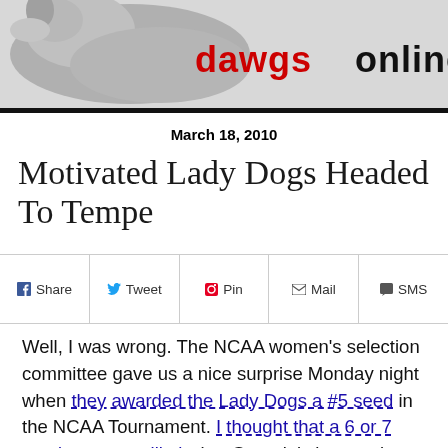[Figure (logo): dawgsonline website logo with dog silhouette and text 'dawgsonline' in red and black]
March 18, 2010
Motivated Lady Dogs Headed To Tempe
Share  Tweet  Pin  Mail  SMS
Well, I was wrong. The NCAA women's selection committee gave us a nice surprise Monday night when they awarded the Lady Dogs a #5 seed in the NCAA Tournament. I thought that a 6 or 7 seed was most likely, but Georgia's impressive results outside of the conference must have weighed heavily in their favor. The #5 seed is Georgia's highest starting position since 2007